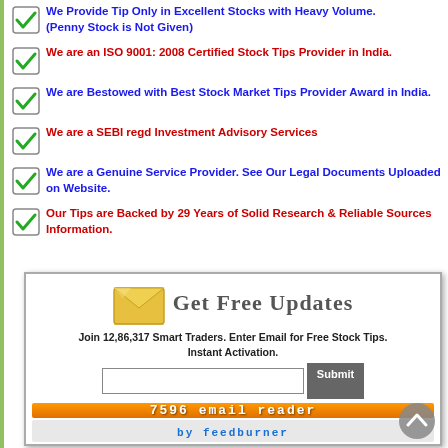We Provide Tip Only in Excellent Stocks with Heavy Volume. (Penny Stock is Not Given)
We are an ISO 9001: 2008 Certified Stock Tips Provider in India.
We are Bestowed with Best Stock Market Tips Provider Award in India.
We are a SEBI regd Investment Advisory Services
We are a Genuine Service Provider. See Our Legal Documents Uploaded on Website.
Our Tips are Backed by 29 Years of Solid Research & Reliable Sources Information.
[Figure (infographic): Get Free Updates banner with envelope icon, email signup form with Submit button, orange bar with '7596 email reader' text, and blue bar with 'by feedburner' text]